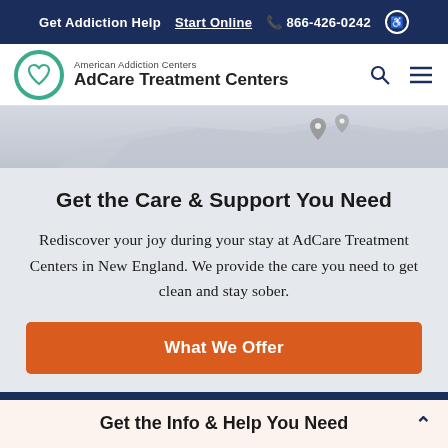Get Addiction Help  Start Online  📞 866-426-0242  ♿
[Figure (logo): American Addiction Centers AdCare Treatment Centers logo with teal circle heart icon]
[Figure (map): Partial map graphic showing location pins over New England region]
Get the Care & Support You Need
Rediscover your joy during your stay at AdCare Treatment Centers in New England. We provide the care you need to get clean and stay sober.
What We Offer
Get the Info & Help You Need